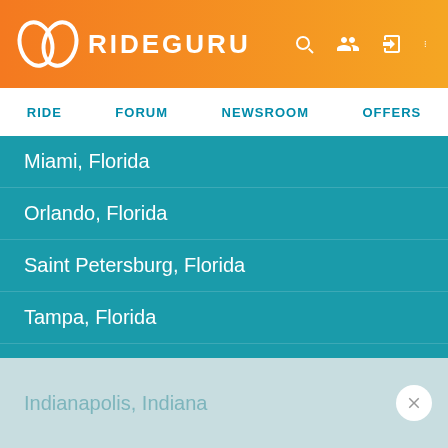RIDEGURU
Miami, Florida
Orlando, Florida
Saint Petersburg, Florida
Tampa, Florida
West Palm Beach, Florida
Atlanta, Georgia
Honolulu, Hawaii
Chicago, Illinois
Indianapolis, Indiana